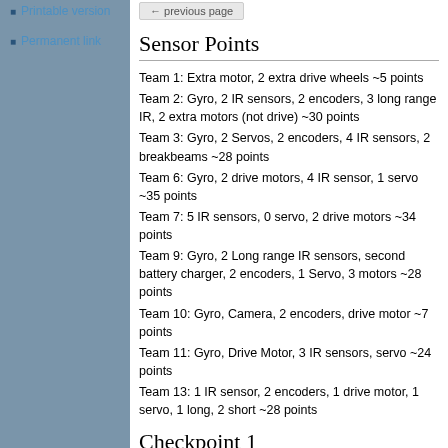Printable version
Permanent link
Sensor Points
Team 1: Extra motor, 2 extra drive wheels ~5 points
Team 2: Gyro, 2 IR sensors, 2 encoders, 3 long range IR, 2 extra motors (not drive) ~30 points
Team 3: Gyro, 2 Servos, 2 encoders, 4 IR sensors, 2 breakbeams ~28 points
Team 6: Gyro, 2 drive motors, 4 IR sensor, 1 servo ~35 points
Team 7: 5 IR sensors, 0 servo, 2 drive motors ~34 points
Team 9: Gyro, 2 Long range IR sensors, second battery charger, 2 encoders, 1 Servo, 3 motors ~28 points
Team 10: Gyro, Camera, 2 encoders, drive motor ~7 points
Team 11: Gyro, Drive Motor, 3 IR sensors, servo ~24 points
Team 13: 1 IR sensor, 2 encoders, 1 drive motor, 1 servo, 1 long, 2 short ~28 points
Checkpoint 1